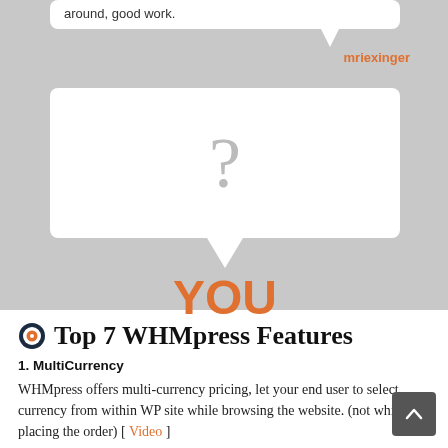[Figure (infographic): Conversation infographic showing a speech bubble with text 'around, good work.' attributed to 'mriexinger' in orange, and a second speech bubble with a grey question mark pointing down to the word 'YOU' in large orange bold text, set against a grey background.]
Top 7 WHMpress Features
1. MultiCurrency
WHMpress offers multi-currency pricing, let your end user to select currency from within WP site while browsing the website. (not while placing the order) [ Video ]